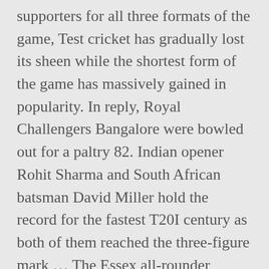supporters for all three formats of the game, Test cricket has gradually lost its sheen while the shortest form of the game has massively gained in popularity. In reply, Royal Challengers Bangalore were bowled out for a paltry 82. Indian opener Rohit Sharma and South African batsman David Miller hold the record for the fastest T20I century as both of them reached the three-figure mark ... The Essex all-rounder smashed an incredible unbeaten 152 off 58 balls, pummeling 16 sixes and ten boundaries along the way. MEN CRICKET. Statista. Overview and forecasts on trending topics, Key figures and rankings about brands and companies, Consumer